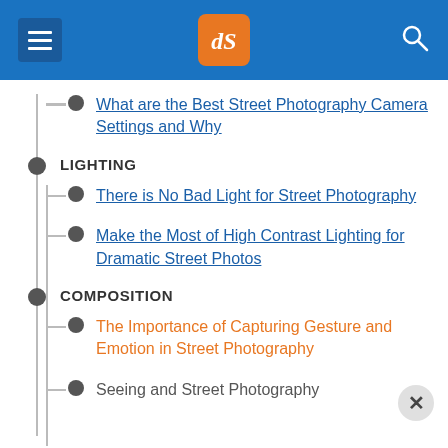dPS navigation menu header
What are the Best Street Photography Camera Settings and Why
LIGHTING
There is No Bad Light for Street Photography
Make the Most of High Contrast Lighting for Dramatic Street Photos
COMPOSITION
The Importance of Capturing Gesture and Emotion in Street Photography
Seeing and Street Photography